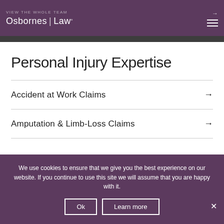VIEW THE WHOLE TEAM → Osbornes Law°
Personal Injury Expertise
Accident at Work Claims →
Amputation & Limb-Loss Claims →
We use cookies to ensure that we give you the best experience on our website. If you continue to use this site we will assume that you are happy with it.
Ok  Learn more